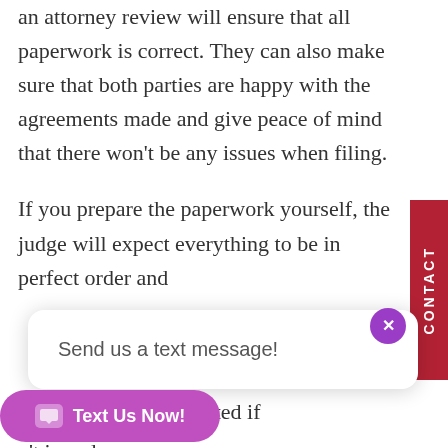an attorney review will ensure that all paperwork is correct. They can also make sure that both parties are happy with the agreements made and give peace of mind that there won't be any issues when filing.
If you prepare the paperwork yourself, the judge will expect everything to be in perfect order and
paperwork being rejected if
n't in order.
Because of this, even if you don't